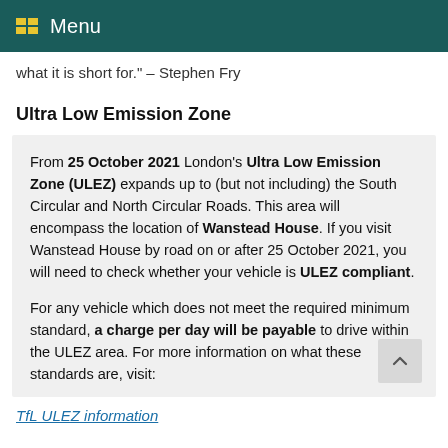Menu
what it is short for." – Stephen Fry
Ultra Low Emission Zone
From 25 October 2021 London's Ultra Low Emission Zone (ULEZ) expands up to (but not including) the South Circular and North Circular Roads. This area will encompass the location of Wanstead House. If you visit Wanstead House by road on or after 25 October 2021, you will need to check whether your vehicle is ULEZ compliant.
For any vehicle which does not meet the required minimum standard, a charge per day will be payable to drive within the ULEZ area. For more information on what these standards are, visit:
TfL ULEZ information